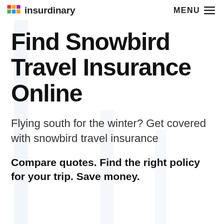insurdinary  MENU
Find Snowbird Travel Insurance Online
Flying south for the winter? Get covered with snowbird travel insurance
Compare quotes. Find the right policy for your trip. Save money.